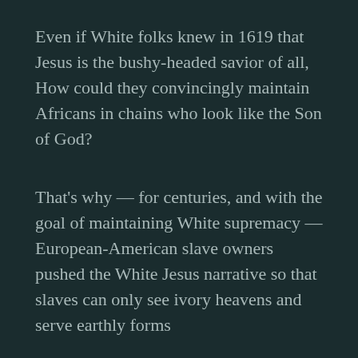Even if White folks knew in 1619 that Jesus is the bushy-headed savior of all, How could they convincingly maintain Africans in chains who look like the Son of God?
That's why — for centuries, and with the goal of maintaining White supremacy — European-American slave owners pushed the White Jesus narrative so that slaves can only see ivory heavens and serve earthly forms